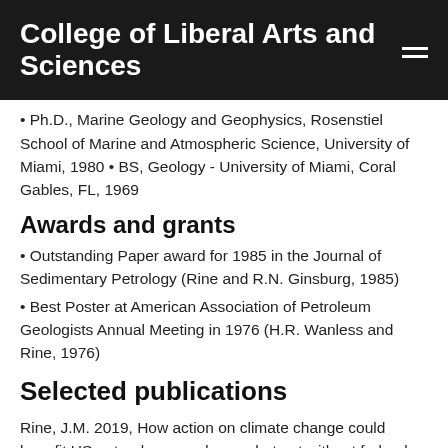College of Liberal Arts and Sciences
• Ph.D., Marine Geology and Geophysics, Rosenstiel School of Marine and Atmospheric Science, University of Miami, 1980 • BS, Geology - University of Miami, Coral Gables, FL, 1969
Awards and grants
• Outstanding Paper award for 1985 in the Journal of Sedimentary Petrology (Rine and R.N. Ginsburg, 1985)
• Best Poster at American Association of Petroleum Geologists Annual Meeting in 1976 (H.R. Wanless and Rine, 1976)
Selected publications
Rine, J.M. 2019, How action on climate change could benefit US natural gas producers, but not without federal mandates, AAPG Bulletin (archives, ahead of print).